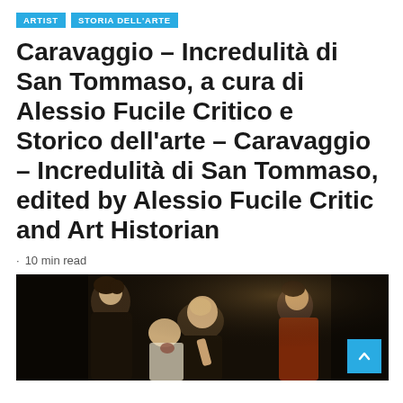ARTIST | STORIA DELL'ARTE
Caravaggio – Incredulità di San Tommaso, a cura di Alessio Fucile Critico e Storico dell'arte – Caravaggio – Incredulità di San Tommaso, edited by Alessio Fucile Critic and Art Historian
· 10 min read
[Figure (photo): Caravaggio painting: Incredulità di San Tommaso — dark scene with figures leaning over Christ, examining the wound. Chiaroscuro style.]